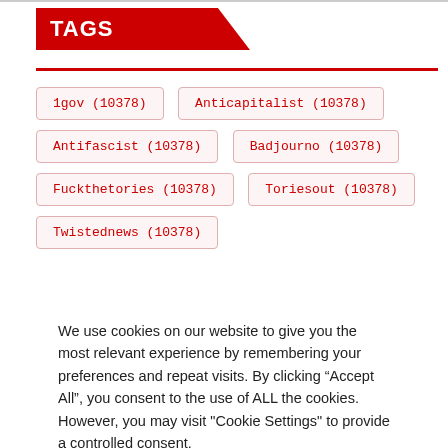TAGS
1gov (10378)
Anticapitalist (10378)
Antifascist (10378)
Badjourno (10378)
Fuckthetories (10378)
Toriesout (10378)
Twistednews (10378)
We use cookies on our website to give you the most relevant experience by remembering your preferences and repeat visits. By clicking “Accept All”, you consent to the use of ALL the cookies. However, you may visit "Cookie Settings" to provide a controlled consent.
Cookie Settings  Accept All